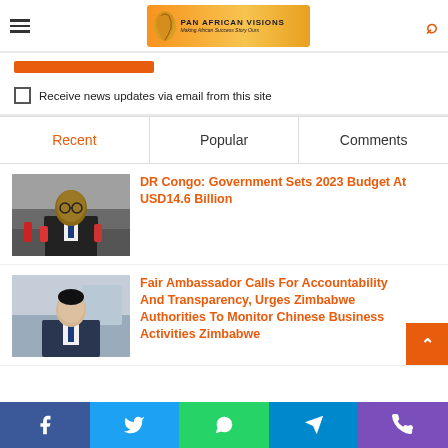Pan African Visions — Making Africa Success Story
Receive news updates via email from this site
Recent | Popular | Comments
[Figure (photo): Photo of a man in a suit speaking at a press conference with microphones]
DR Congo: Government Sets 2023 Budget At USD14.6 Billion
[Figure (photo): Photo of an Asian man in a suit standing in an interior setting]
Fair Ambassador Calls For Accountability And Transparency, Urges Zimbabwe Authorities To Monitor Chinese Business Activities Zimbabwe